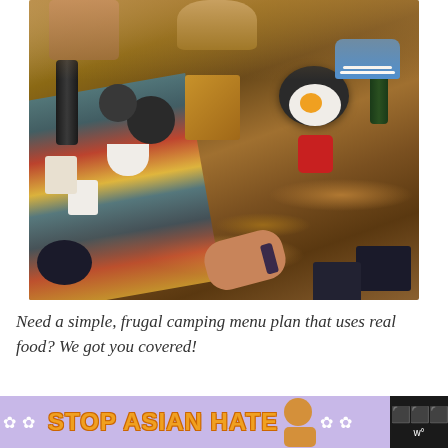[Figure (photo): Overhead view of a group of people having a camping picnic on autumn leaves with a colorful ethnic blanket, camping cookware including a pan with a fried egg, thermos flask, white bowls and cups, a brown paper bag, red camping stove, and dark metal pots. Blue sneakers visible at top right, a hand reaching in at bottom center.]
Need a simple, frugal camping menu plan that uses real food? We got you covered!
[Figure (infographic): Ad banner with purple/lavender background, white flower decorations, bold yellow text reading 'STOP ASIAN HATE' with a cartoon person illustration, and a dark button on the right side with a speech bubble icon.]